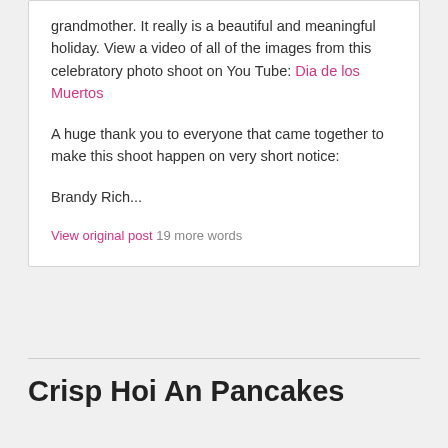grandmother. It really is a beautiful and meaningful holiday. View a video of all of the images from this celebratory photo shoot on You Tube: Dia de los Muertos
A huge thank you to everyone that came together to make this shoot happen on very short notice:
Brandy Rich...
View original post 19 more words
Crisp Hoi An Pancakes